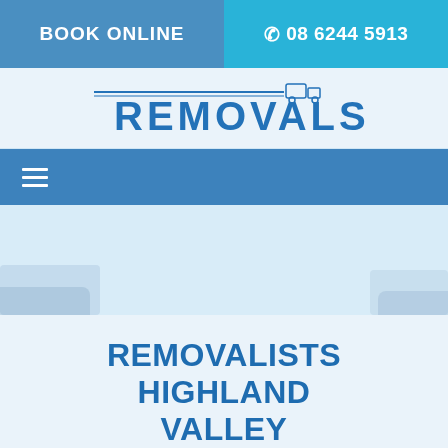BOOK ONLINE   08 6244 5913
[Figure (logo): Removals company logo with truck icon and 'REMOVALS' text in blue]
≡ (hamburger menu)
[Figure (photo): Hero banner image with moving truck, partially visible at edges]
REMOVALISTS HIGHLAND VALLEY
Home / Removalists SA / Removalists Highland Valley